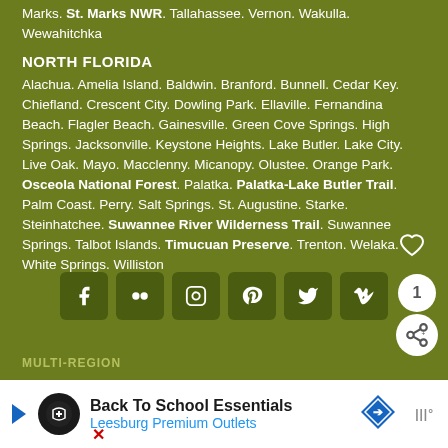Marks. St. Marks NWR. Tallahassee. Vernon. Wakulla. Wewahitchka
NORTH FLORIDA
Alachua. Amelia Island. Baldwin. Branford. Bunnell. Cedar Key. Chiefland. Crescent City. Dowling Park. Ellaville. Fernandina Beach. Flagler Beach. Gainesville. Green Cove Springs. High Springs. Jacksonville. Keystone Heights. Lake Butler. Lake City. Live Oak. Mayo. Macclenny. Micanopy. Olustee. Orange Park. Osceola National Forest. Palatka. Palatka-Lake Butler Trail. Palm Coast. Perry. Salt Springs. St. Augustine. Starke. Steinhatchee. Suwannee River Wilderness Trail. Suwannee Springs. Talbot Islands. Timucuan Preserve. Trenton. Welaka. White Springs. Williston
[Figure (other): Social media share buttons: Facebook, Flickr, Instagram, Pinterest, Twitter, Vimeo icons; heart/like button; share count widget showing 1]
MULTI-REGION
[Figure (other): Advertisement banner: Back To School Essentials - Leesburg Premium Outlets]